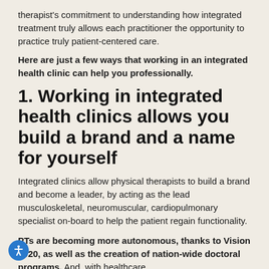therapist's commitment to understanding how integrated treatment truly allows each practitioner the opportunity to practice truly patient-centered care.
Here are just a few ways that working in an integrated health clinic can help you professionally.
1. Working in integrated health clinics allows you build a brand and a name for yourself
Integrated clinics allow physical therapists to build a brand and become a leader, by acting as the lead musculoskeletal, neuromuscular, cardiopulmonary specialist on-board to help the patient regain functionality.
PTs are becoming more autonomous, thanks to Vision 2020, as well as the creation of nation-wide doctoral programs. And, with healthcare